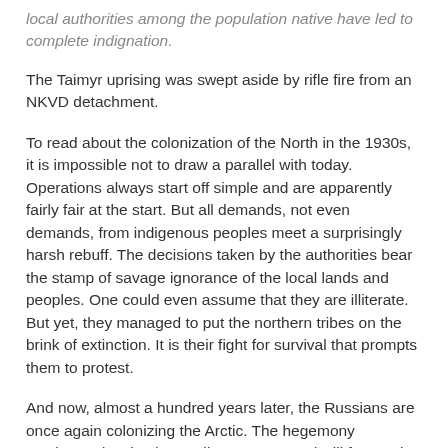local authorities among the population native have led to complete indignation.
The Taimyr uprising was swept aside by rifle fire from an NKVD detachment.
To read about the colonization of the North in the 1930s, it is impossible not to draw a parallel with today. Operations always start off simple and are apparently fairly fair at the start. But all demands, not even demands, from indigenous peoples meet a surprisingly harsh rebuff. The decisions taken by the authorities bear the stamp of savage ignorance of the local lands and peoples. One could even assume that they are illiterate. But yet, they managed to put the northern tribes on the brink of extinction. It is their fight for survival that prompts them to protest.
And now, almost a hundred years later, the Russians are once again colonizing the Arctic. The hegemony continues despite the media coverage and will forever be remembered by those forced